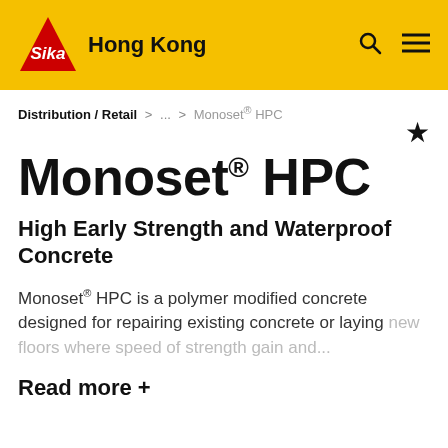Sika Hong Kong
Distribution / Retail > ... > Monoset® HPC
Monoset® HPC
High Early Strength and Waterproof Concrete
Monoset® HPC is a polymer modified concrete designed for repairing existing concrete or laying new floors where speed of strength gain and...
Read more +